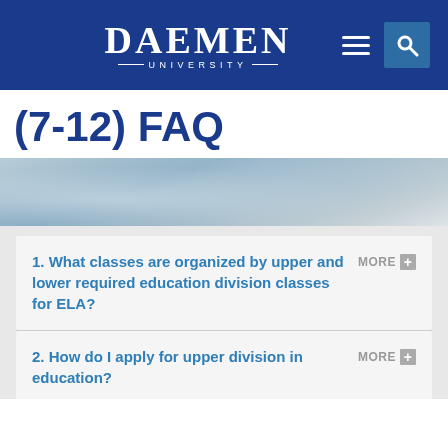DAEMEN UNIVERSITY
(7-12) FAQ
[Figure (photo): Blurred snowy outdoor scene background hero image]
1. What classes are organized by upper and lower required education division classes for ELA?
2. How do I apply for upper division in education?